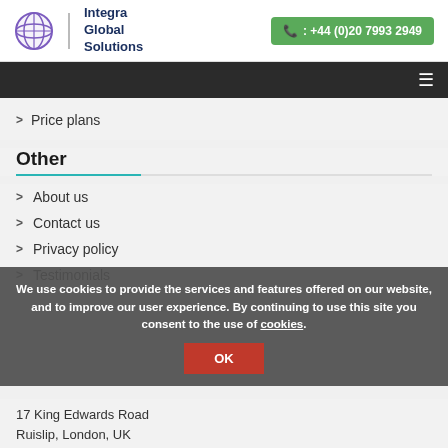Integra Global Solutions | +44 (0)20 7993 2949
Price plans
Other
About us
Contact us
Privacy policy
Testimonials
We use cookies to provide the services and features offered on our website, and to improve our user experience. By continuing to use this site you consent to the use of cookies.
17 King Edwards Road
Ruislip, London, UK